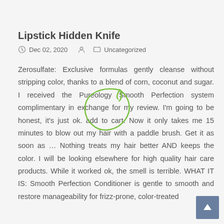Lipstick Hidden Knife
Dec 02, 2020   Uncategorized
Zerosulfate: Exclusive formulas gently cleanse without stripping color, thanks to a blend of corn, coconut and sugar. I received the Pureology Smooth Perfection system complimentary in exchange for my review. I'm going to be honest, it's just ok. add to cart. Now it only takes me 15 minutes to blow out my hair with a paddle brush. Get it as soon as … Nothing treats my hair better AND keeps the color. I will be looking elsewhere for high quality hair care products. While it worked ok, the smell is terrible. WHAT IT IS: Smooth Perfection Conditioner is gentle to smooth and restore manageability for frizz-prone, color-treated